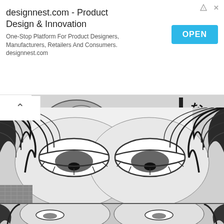[Figure (screenshot): Advertisement banner for designnest.com - Product Design & Innovation with OPEN button]
designnest.com - Product Design & Innovation
One-Stop Platform For Product Designers, Manufacturers, Retailers And Consumers. designnest.com
[Figure (illustration): Manga panel showing a character lying on ground with rocks, Japanese text 'なった' and English caption 'I COULDN'T BELIEVE MY EYES.']
[Figure (illustration): Manga panel showing close-up of two faces with narrowed eyes and dark hair]